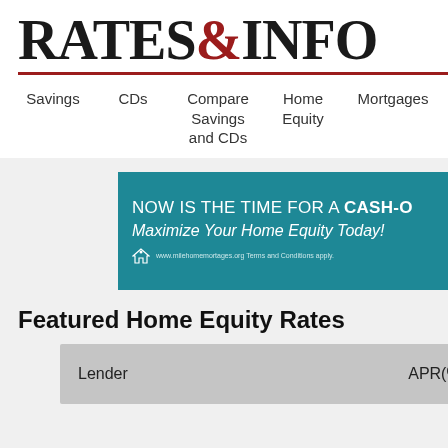RATES&INFO
Savings   CDs   Compare Savings and CDs   Home Equity   Mortgages   Loan
[Figure (infographic): Teal advertisement banner: NOW IS THE TIME FOR A CASH-O[UT] — Maximize Your Home Equity Today! with a house logo and small disclaimer text.]
Featured Home Equity Rates
| Lender | APR(%) |
| --- | --- |